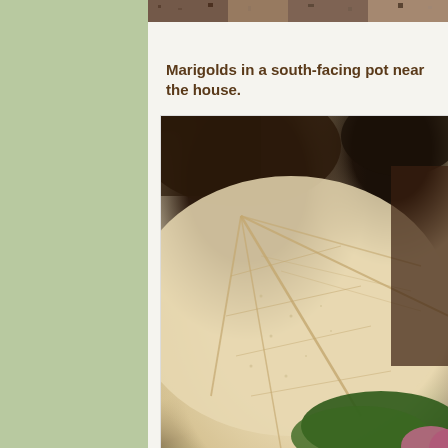[Figure (photo): Partial top strip of a photo showing plant/garden material, cropped at the top of the page]
Marigolds in a south-facing pot near the house.
[Figure (photo): Close-up macro photograph of a dry, pale brown leaf showing detailed vein texture, with a dark brown pot, green leaf, and pink flower visible at the edges]